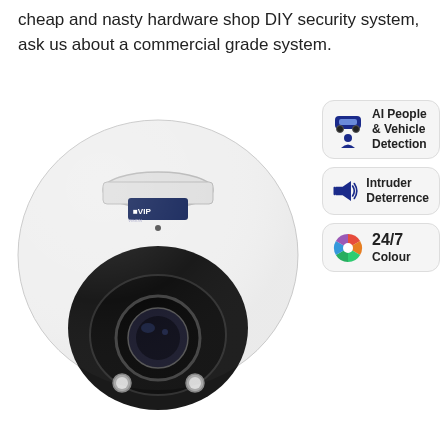cheap and nasty hardware shop DIY security system, ask us about a commercial grade system.
[Figure (photo): VIP Vision dome security camera with feature badges: AI People & Vehicle Detection, Intruder Deterrence, 24/7 Colour]